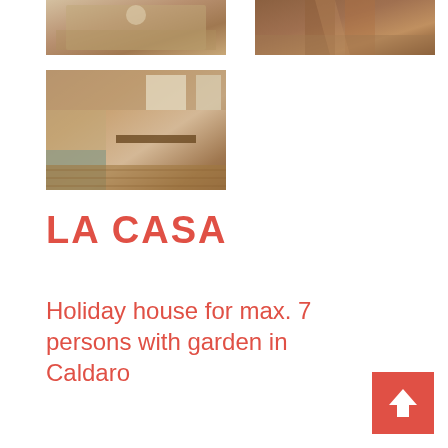[Figure (photo): Top-left photo of interior room with wooden elements]
[Figure (photo): Top-right photo of wooden staircase]
[Figure (photo): Main photo of living/dining room with wooden paneling, sofa, table and chairs]
LA CASA
Holiday house for max. 7 persons with garden in Caldaro